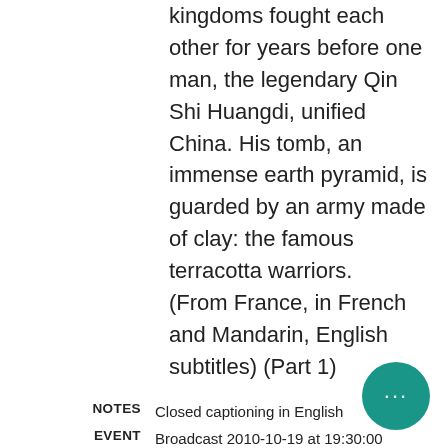kingdoms fought each other for years before one man, the legendary Qin Shi Huangdi, unified China. His tomb, an immense earth pyramid, is guarded by an army made of clay: the famous terracotta warriors. (From France, in French and Mandarin, English subtitles) (Part 1)
NOTES  Closed captioning in English
EVENT  Broadcast 2010-10-19 at 19:30:00
NOTES  Classification: G
SUBJECT  Agriculture. Architecture, Chinese. Civilization, Ancient. History of...